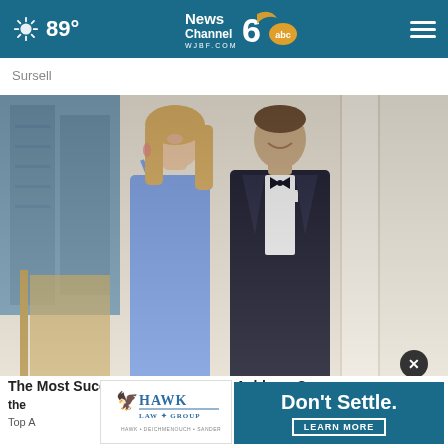News Channel 6 abc WJBF.COM — 89°
Sursell
[Figure (photo): A woman in a blue spaghetti-strap dress and a man in a black tuxedo with bow tie posing together at a formal event]
The Most Successful Attorneys in Ashburn See the
Top A
[Figure (logo): Hawk Law Group logo with eagle symbol and text 'Hawk Law Group, Hawk Deichmenouch & Sanders']
Don't Settle. LEARN MORE